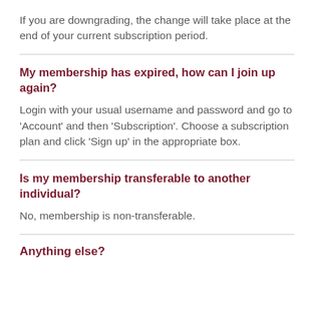If you are downgrading, the change will take place at the end of your current subscription period.
My membership has expired, how can I join up again?
Login with your usual username and password and go to 'Account' and then 'Subscription'. Choose a subscription plan and click 'Sign up' in the appropriate box.
Is my membership transferable to another individual?
No, membership is non-transferable.
Anything else?